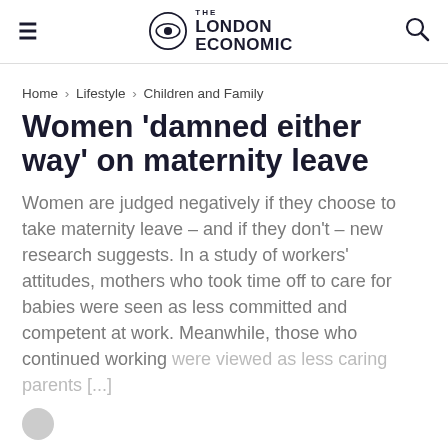THE LONDON ECONOMIC
Home > Lifestyle > Children and Family
Women 'damned either way' on maternity leave
Women are judged negatively if they choose to take maternity leave – and if they don't – new research suggests. In a study of workers' attitudes, mothers who took time off to care for babies were seen as less committed and competent at work. Meanwhile, those who continued working were viewed as less caring parents [...]